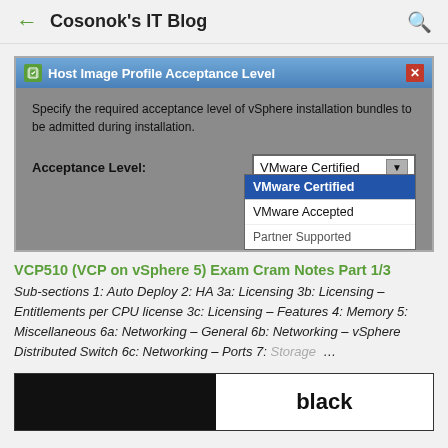← Cosonok's IT Blog 🔍
[Figure (screenshot): VMware vSphere Host Image Profile Acceptance Level dialog box with a dropdown showing VMware Certified selected, and a dropdown list showing VMware Certified (highlighted in blue), VMware Accepted, and Partner Supported options.]
VCP510 (VCP on vSphere 5) Exam Cram Notes Part 1/3
Sub-sections 1: Auto Deploy 2: HA 3a: Licensing 3b: Licensing – Entitlements per CPU license 3c: Licensing – Features 4: Memory 5: Miscellaneous 6a: Networking – General 6b: Networking – vSphere Distributed Switch 6c: Networking – Ports 7: Storage …
[Figure (screenshot): Bottom portion of a screenshot showing a black left half and a white right half with the word 'black' in bold text.]